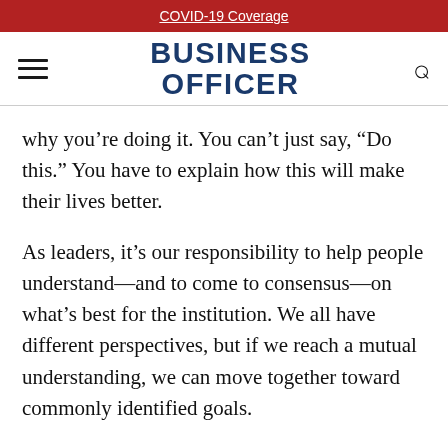COVID-19 Coverage
[Figure (logo): Business Officer magazine logo with hamburger menu icon and search icon]
why you’re doing it. You can’t just say, “Do this.” You have to explain how this will make their lives better.
As leaders, it’s our re­sponsibility to help people understand—and to come to consensus—on what’s best for the institution. We all have different perspectives, but if we reach a mutual understanding, we can move together toward commonly identified goals.